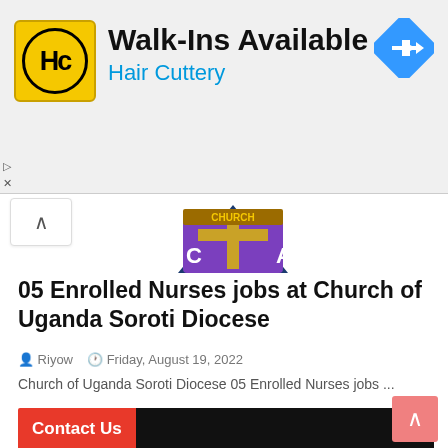[Figure (screenshot): Hair Cuttery advertisement banner with logo, 'Walk-Ins Available' text, and navigation arrow icon]
[Figure (logo): Church of Uganda Soroti Diocese partial logo/crest showing purple and gold colors]
05 Enrolled Nurses jobs at Church of Uganda Soroti Diocese
Riyow   Friday, August 19, 2022
Church of Uganda Soroti Diocese 05 Enrolled Nurses jobs ...
Contact Us
Name
Email *
Message *